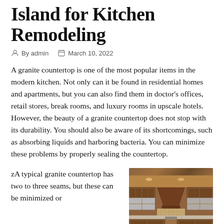Island for Kitchen Remodeling
By admin   March 10, 2022
A granite countertop is one of the most popular items in the modern kitchen. Not only can it be found in residential homes and apartments, but you can also find them in doctor's offices, retail stores, break rooms, and luxury rooms in upscale hotels. However, the beauty of a granite countertop does not stop with its durability. You should also be aware of its shortcomings, such as absorbing liquids and harboring bacteria. You can minimize these problems by properly sealing the countertop.
zA typical granite countertop has two to three seams, but these can be minimized or
[Figure (photo): Interior photo of a luxury kitchen with dark wood cabinetry, granite countertops, and overhead range hood]